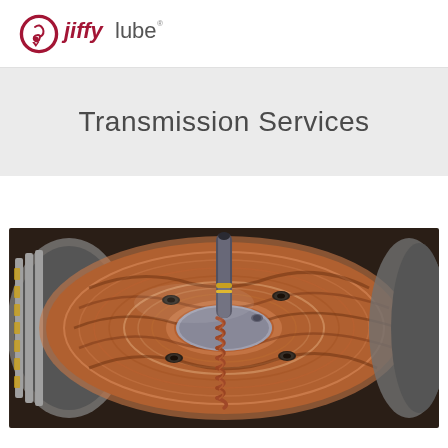Jiffy Lube logo
Transmission Services
[Figure (photo): Close-up photograph of an automotive transmission component showing a machined metal disc with a central spring-loaded shaft, copper/bronze colored metallic surfaces with swirl patterns, and visible bolts, against a background of transmission drum components.]